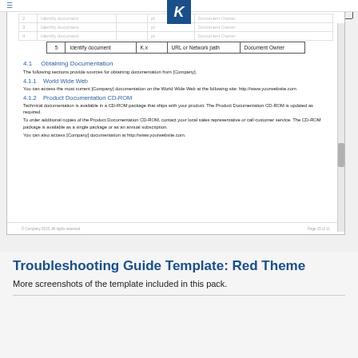[Figure (screenshot): Screenshot of a document editor showing a troubleshooting guide template page. The document shows a table row with columns: 5, Identify document, K.x, URL or Network path, Document Owner. Below the table are sections: 4.1 Obtaining Documentation, 4.1.1 World Wide Web, 4.1.2 Product Documentation CD-ROM with descriptive text. A page footer shows '© Company 2015. All rights reserved.' and 'Page 15 of 11'. The editor status bar at the bottom shows PAGE 10 OF 11, 1442 WORDS, and 60% zoom.]
Troubleshooting Guide Template: Red Theme
More screenshots of the template included in this pack.